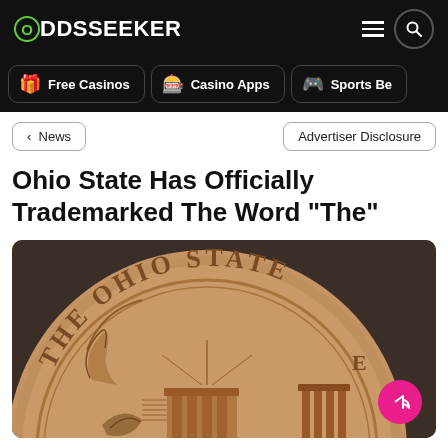ODDSSEEKER
Free Casinos
Casino Apps
Sports Be...
< News
Advertiser Disclosure
Ohio State Has Officially Trademarked The Word “The”
[Figure (photo): Close-up photo of The Ohio State University seal/medallion in bronze/copper, showing the text THE OHIO STATE in raised lettering along the top arc of the circular seal.]